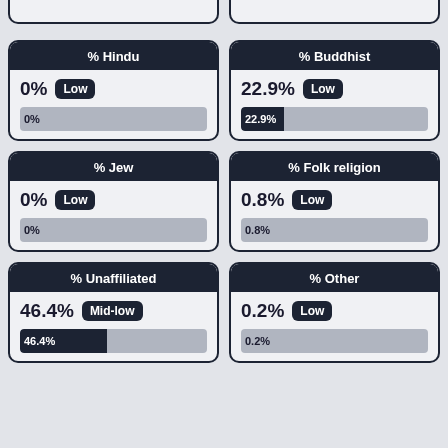[Figure (infographic): Top partial cards (cropped from previous page)]
[Figure (bar-chart): % Hindu]
[Figure (bar-chart): % Buddhist]
[Figure (bar-chart): % Jew]
[Figure (bar-chart): % Folk religion]
[Figure (bar-chart): % Unaffiliated]
[Figure (bar-chart): % Other]